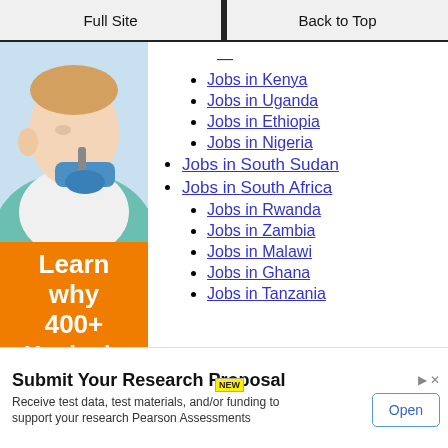Full Site | Back to Top
[Figure (photo): Dental hygienist treating a child patient, with orange ad background showing 'Learn why 400+ Hygienists choose']
Jobs in Kenya
Jobs in Uganda
Jobs in Ethiopia
Jobs in Nigeria
Jobs in South Sudan
Jobs in South Africa
Jobs in Rwanda
Jobs in Zambia
Jobs in Malawi
Jobs in Ghana
Jobs in Tanzania
[Figure (infographic): Advertisement: Submit Your Research Proposal - Receive test data, test materials, and/or funding to support your research Pearson Assessments. Open button.]